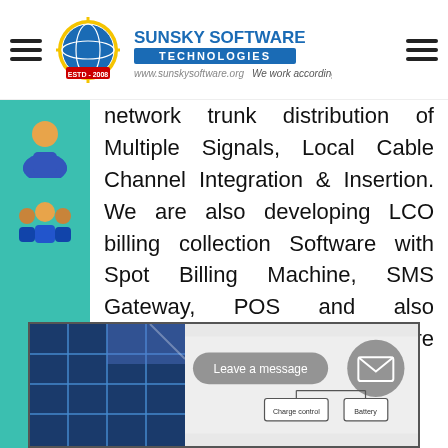Sunsky Software Technologies — We work according to you
network trunk distribution of Multiple Signals, Local Cable Channel Integration & Insertion. We are also developing LCO billing collection Software with Spot Billing Machine, SMS Gateway, POS and also developing DCR Software including this module.
[Figure (illustration): Person/user icons on teal sidebar background]
[Figure (photo): Solar panel photo with chat bubble overlay saying 'Leave a message', mail icon button, and a charge controller/battery diagram]